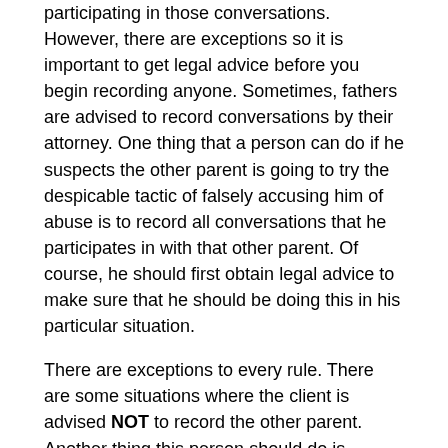participating in those conversations. However, there are exceptions so it is important to get legal advice before you begin recording anyone. Sometimes, fathers are advised to record conversations by their attorney. One thing that a person can do if he suspects the other parent is going to try the despicable tactic of falsely accusing him of abuse is to record all conversations that he participates in with that other parent. Of course, he should first obtain legal advice to make sure that he should be doing this in his particular situation.
There are exceptions to every rule. There are some situations where the client is advised NOT to record the other parent. Another thing this person should do is verbally deny any false allegation. For example, if the other parent sends him a text accusing him of abuse, he should text her back something stating that no such abuse ever occurred.
Free Initial Consultation with Lawyer
It's not a matter of if, it's a matter of when. Legal problems come to everyone. Whether it's your son who gets in a car wreck, your uncle who loses his job and needs to file for bankruptcy, your